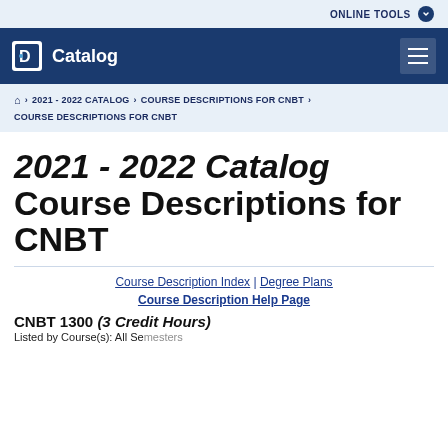ONLINE TOOLS
Catalog
🏠 > 2021 - 2022 CATALOG > COURSE DESCRIPTIONS FOR CNBT > COURSE DESCRIPTIONS FOR CNBT
2021 - 2022 Catalog Course Descriptions for CNBT
Course Description Index | Degree Plans
Course Description Help Page
CNBT 1300 (3 Credit Hours)
Listed by Course(s): All Semesters